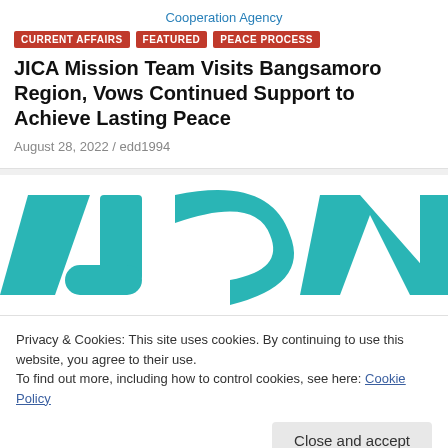Cooperation Agency
CURRENT AFFAIRS | FEATURED | PEACE PROCESS
JICA Mission Team Visits Bangsamoro Region, Vows Continued Support to Achieve Lasting Peace
August 28, 2022 / edd1994
[Figure (logo): Large cropped JICA logo showing teal/cyan stylized letters on white background]
Privacy & Cookies: This site uses cookies. By continuing to use this website, you agree to their use.
To find out more, including how to control cookies, see here: Cookie Policy
Close and accept